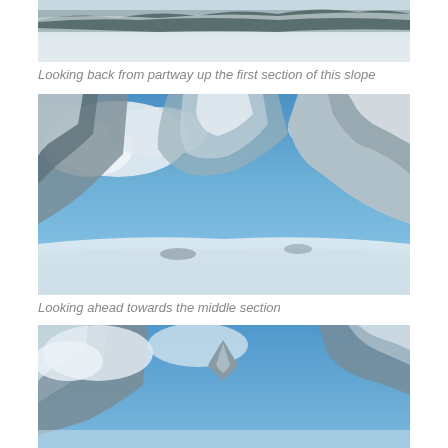[Figure (photo): Snowy mountain slope with trees in the background, taken looking back from partway up the first section of the slope.]
Looking back from partway up the first section of this slope
[Figure (photo): Wide angle view of a snow-covered mountain bowl with rocky cliffs and a blue sky with clouds — looking ahead towards the middle section.]
Looking ahead towards the middle section
[Figure (photo): Looking up at rocky snow-covered peaks against a blue sky with clouds.]